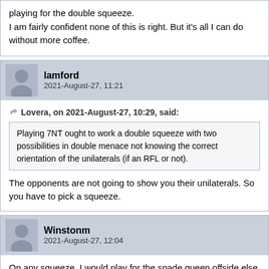playing for the double squeeze.

I am fairly confident none of this is right. But it's all I can do without more coffee.
lamford
2021-August-27, 11:21
Lovera, on 2021-August-27, 10:29, said:
Playing 7NT ought to work a double squeeze with two possibilities in double menace not knowing the correct orientation of the unilaterals (if an RFL or not).
The opponents are not going to show you their unilaterals. So you have to pick a squeeze.
Winstonm
2021-August-27, 12:04
On any squeeze, I would play for the spade queen offside else a